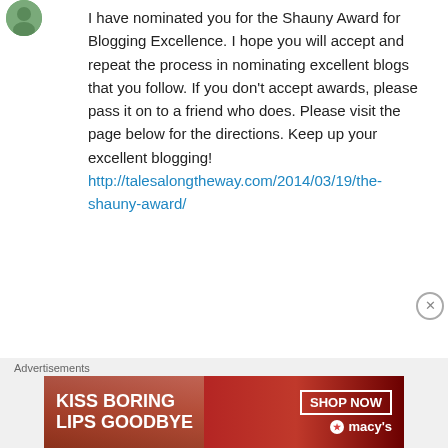[Figure (photo): Small circular avatar image of a person, partially visible at top left]
I have nominated you for the Shauny Award for Blogging Excellence. I hope you will accept and repeat the process in nominating excellent blogs that you follow. If you don't accept awards, please pass it on to a friend who does. Please visit the page below for the directions. Keep up your excellent blogging!
http://talesalongtheway.com/2014/03/19/the-shauny-award/
★ Like
↳ Reply
Advertisements
[Figure (photo): Macy's advertisement banner: 'KISS BORING LIPS GOODBYE' with SHOP NOW button and Macy's logo, red background with a woman's face]